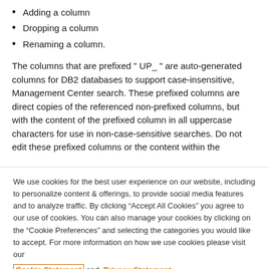Adding a column
Dropping a column
Renaming a column.
The columns that are prefixed " UP_ " are auto-generated columns for DB2 databases to support case-insensitive, Management Center search. These prefixed columns are direct copies of the referenced non-prefixed columns, but with the content of the prefixed column in all uppercase characters for use in non-case-sensitive searches. Do not edit these prefixed columns or the content within the
We use cookies for the best user experience on our website, including to personalize content & offerings, to provide social media features and to analyze traffic. By clicking “Accept All Cookies” you agree to our use of cookies. You can also manage your cookies by clicking on the “Cookie Preferences” and selecting the categories you would like to accept. For more information on how we use cookies please visit our Cookie Statement and Privacy Statement
Cookie Preferences
Accept All Cookies